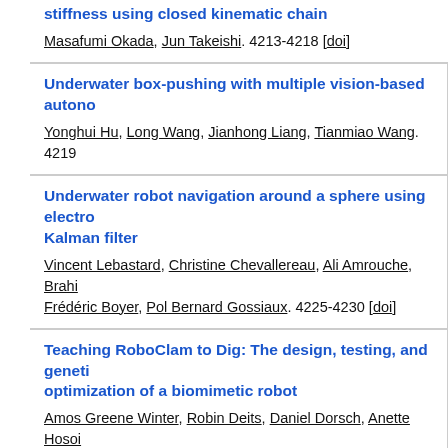stiffness using closed kinematic chain
Masafumi Okada, Jun Takeishi. 4213-4218 [doi]
Underwater box-pushing with multiple vision-based autono...
Yonghui Hu, Long Wang, Jianhong Liang, Tianmiao Wang. 4219...
Underwater robot navigation around a sphere using electro... Kalman filter
Vincent Lebastard, Christine Chevallereau, Ali Amrouche, Brahi..., Frédéric Boyer, Pol Bernard Gossiaux. 4225-4230 [doi]
Teaching RoboClam to Dig: The design, testing, and genetic... optimization of a biomimetic robot
Amos Greene Winter, Robin Deits, Daniel Dorsch, Anette Hosoi..., Slocum. 4231-4235 [doi]
CPG based self-adapting multi-DOF robotic arm control
Woosung Yang, Ji-Hun Bae, Yonghwan Oh, Nak Young Chong,...